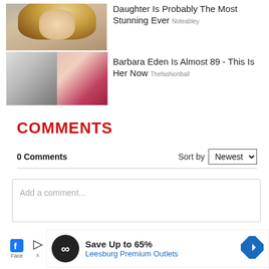[Figure (photo): Promotional content block with two celebrity photos and text. Top: blonde woman photo with text 'Daughter Is Probably The Most Stunning Ever' sourced from Noteabley. Bottom: Barbara Eden vintage and current photo with text 'Barbara Eden Is Almost 89 - This Is Her Now' sourced from Thefashionball.]
COMMENTS
0 Comments
Sort by Newest
Add a comment...
[Figure (infographic): Advertisement banner: Save Up to 65% Leesburg Premium Outlets with infinity logo and navigation arrow icon. Adjacent Facebook login area.]